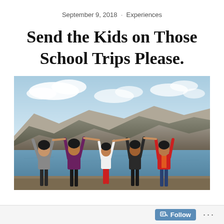September 9, 2018  ·  Experiences
Send the Kids on Those School Trips Please.
[Figure (photo): Five children/young people standing in shallow water at a lake, facing away from the camera, holding hands raised above their heads. Mountains and a partly cloudy sky are visible in the background.]
Follow  ...